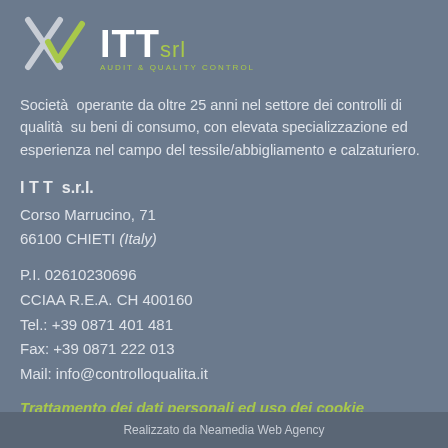[Figure (logo): ITT srl logo with X-checkmark symbol and tagline AUDIT & QUALITY CONTROL]
Società  operante da oltre 25 anni nel settore dei controlli di qualità  su beni di consumo, con elevata specializzazione ed esperienza nel campo del tessile/abbigliamento e calzaturiero.
I T T  s.r.l.
Corso Marrucino, 71
66100 CHIETI (Italy)
P.I. 02610230696
CCIAA R.E.A. CH 400160
Tel.: +39 0871 401 481
Fax: +39 0871 222 013
Mail: info@controlloqualita.it
Trattamento dei dati personali ed uso dei cookie
Realizzato da Neamedia Web Agency